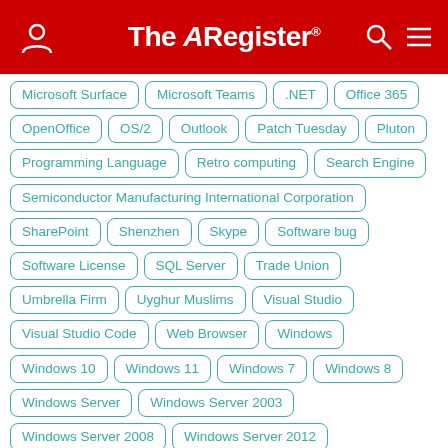The Register
Microsoft Surface
Microsoft Teams
.NET
Office 365
OpenOffice
OS/2
Outlook
Patch Tuesday
Pluton
Programming Language
Retro computing
Search Engine
Semiconductor Manufacturing International Corporation
SharePoint
Shenzhen
Skype
Software bug
Software License
SQL Server
Trade Union
Umbrella Firm
Uyghur Muslims
Visual Studio
Visual Studio Code
Web Browser
Windows
Windows 10
Windows 11
Windows 7
Windows 8
Windows Server
Windows Server 2003
Windows Server 2008
Windows Server 2012
Windows Server 2013
Windows Server 2016
Windows XP
Working from Home
Xbox
Xbox 360